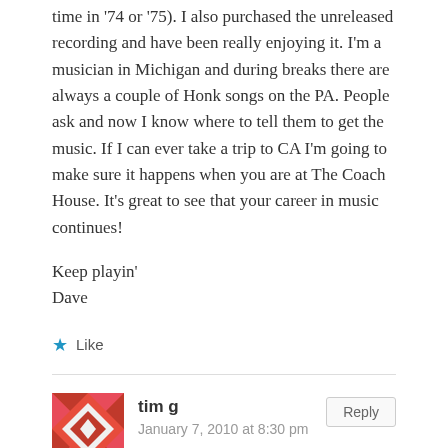time in '74 or '75). I also purchased the unreleased recording and have been really enjoying it. I'm a musician in Michigan and during breaks there are always a couple of Honk songs on the PA. People ask and now I know where to tell them to get the music. If I can ever take a trip to CA I'm going to make sure it happens when you are at The Coach House. It's great to see that your career in music continues!
Keep playin'
Dave
Like
tim g
January 7, 2010 at 8:30 pm
tried to buy this, but the link doesn't work. VERY